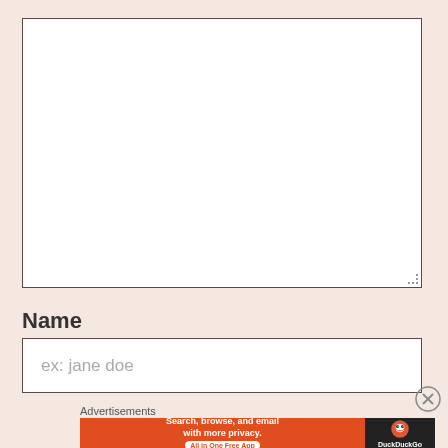[Figure (screenshot): A large empty white textarea input box with a dark border and a dotted resize handle in the bottom-right corner, on a light peach/pink background.]
Name
[Figure (screenshot): A text input field with placeholder text 'ex: jane doe' on a white background with dark border.]
[Figure (other): A close/dismiss button (circle with X) in the lower right area.]
Advertisements
[Figure (screenshot): DuckDuckGo advertisement banner. Left orange section reads 'Search, browse, and email with more privacy. All in One Free App'. Right dark section shows DuckDuckGo duck logo and text 'DuckDuckGo'.]